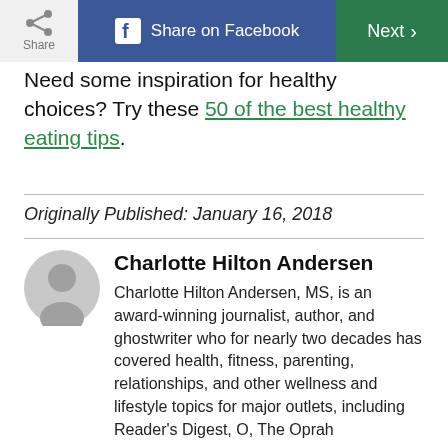Share | Share on Facebook | Next
Need some inspiration for healthy choices? Try these 50 of the best healthy eating tips.
Originally Published: January 16, 2018
Charlotte Hilton Andersen
Charlotte Hilton Andersen, MS, is an award-winning journalist, author, and ghostwriter who for nearly two decades has covered health, fitness, parenting, relationships, and other wellness and lifestyle topics for major outlets, including Reader's Digest, O, The Oprah